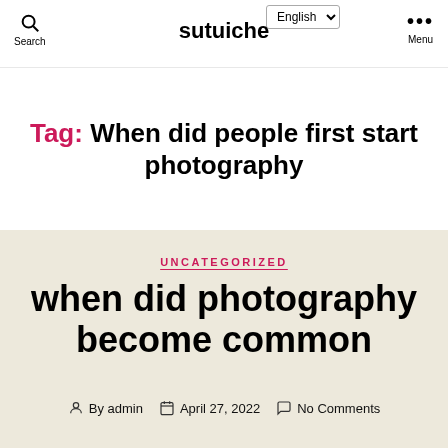sutuiche
Tag: When did people first start photography
UNCATEGORIZED
when did photography become common
By admin   April 27, 2022   No Comments